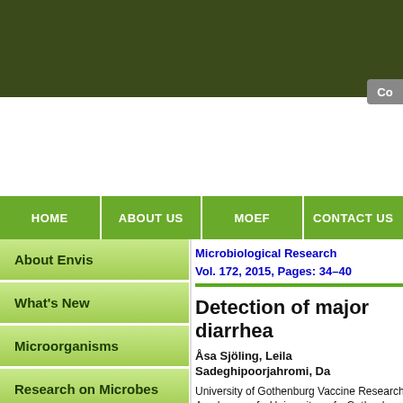HOME | ABOUT US | MoEF | CONTACT US
About Envis
What's New
Microorganisms
Research on Microbes
Microbiological Research
Vol. 172, 2015, Pages: 34–40
Detection of major diarrhea…
Åsa Sjöling, Leila Sadeghipoorjahromi, Da…
University of Gothenburg Vaccine Research… Academy of University of Gothenburg, Gothen…
Abstract
Diarrheal diseases remain a major threat to th… diarrheagenic Escherichia coli (DEC) that con… and enteroinvasive E. coli (EIEC), Salmonella…